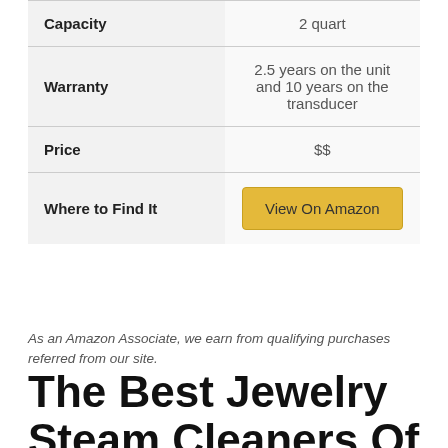|  |  |
| --- | --- |
| Capacity | 2 quart |
| Warranty | 2.5 years on the unit and 10 years on the transducer |
| Price | $$ |
| Where to Find It | View On Amazon |
As an Amazon Associate, we earn from qualifying purchases referred from our site.
The Best Jewelry Steam Cleaners Of 2020